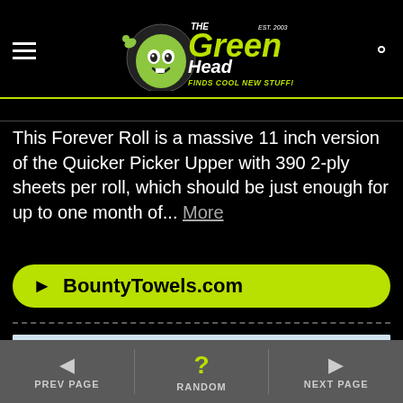The Green Head - Finds Cool New Stuff!
This Forever Roll is a massive 11 inch version of the Quicker Picker Upper with 390 2-ply sheets per roll, which should be just enough for up to one month of... More
► BountyTowels.com
[Figure (photo): Photo of a toilet tank and a large paper towel roll on a light blue background]
◄ PREV PAGE   ? RANDOM   ► NEXT PAGE